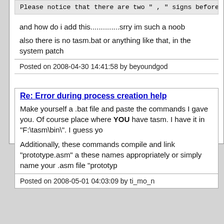Please notice that there are two " , " signs before the "import32.lib" parame
and how do i add this..............srry im such a noob
also there is no tasm.bat or anything like that, in the system patch
Posted on 2008-04-30 14:41:58 by beyoundgod
Re: Error during process creation help
Make yourself a .bat file and paste the commands I gave you. Of course place where YOU have tasm. I have it in "F:\tasm\bin\". I guess yo
Additionally, these commands compile and link "prototype.asm" a these names appropriately or simply name your .asm file "prototyp
Posted on 2008-05-01 04:03:09 by ti_mo_n